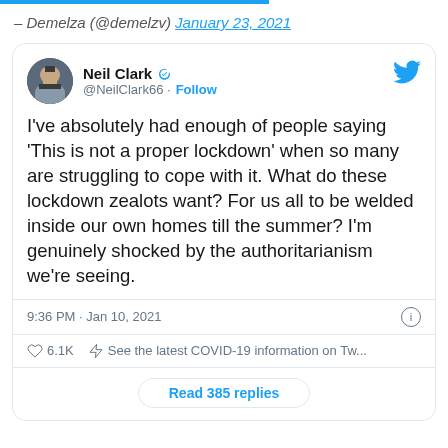– Demelza (@demelzv) January 23, 2021
[Figure (screenshot): Embedded tweet from Neil Clark (@NeilClark66) with verified badge, posted 9:36 PM · Jan 10, 2021. Tweet text: I've absolutely had enough of people saying 'This is not a proper lockdown' when so many are struggling to cope with it. What do these lockdown zealots want? For us all to be welded inside our own homes till the summer? I'm genuinely shocked by the authoritarianism we're seeing. Likes: 6.1K. COVID-19 info link. Read 385 replies button.]